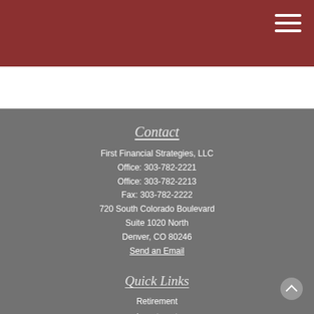First Financial Strategies, LLC — header bar with menu icon
Contact
First Financial Strategies, LLC
Office: 303-782-2221
Office: 303-782-2213
Fax: 303-782-2222
720 South Colorado Boulevard
Suite 1020 North
Denver, CO 80246
Send an Email
Quick Links
Retirement
Investment